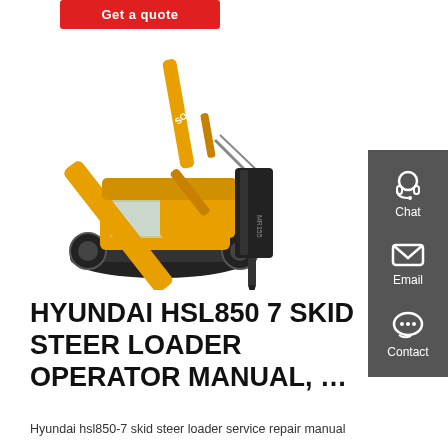Get a quote
[Figure (photo): Yellow Hyundai excavator with black hydraulic hammer attachment, shown on white background]
[Figure (infographic): Dark grey sidebar with Chat (headset icon), Email (envelope icon), and Contact (speech bubble icon) buttons with red dividers]
HYUNDAI HSL850 7 SKID STEER LOADER OPERATOR MANUAL, ...
Hyundai hsl850-7 skid steer loader service repair manual